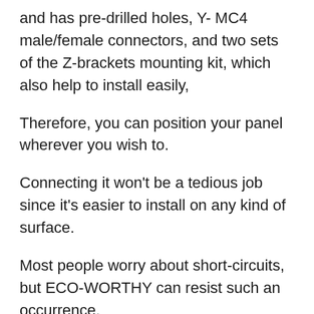and has pre-drilled holes, Y- MC4 male/female connectors, and two sets of the Z-brackets mounting kit, which also help to install easily,
Therefore, you can position your panel wherever you wish to.
Connecting it won't be a tedious job since it's easier to install on any kind of surface.
Most people worry about short-circuits, but ECO-WORTHY can resist such an occurrence.
It can also handle reverse polarity and overload.
Adverse weather, such as rain doesn't affect it